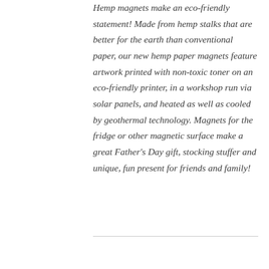Hemp magnets make an eco-friendly statement! Made from hemp stalks that are better for the earth than conventional paper, our new hemp paper magnets feature artwork printed with non-toxic toner on an eco-friendly printer, in a workshop run via solar panels, and heated as well as cooled by geothermal technology. Magnets for the fridge or other magnetic surface make a great Father's Day gift, stocking stuffer and unique, fun present for friends and family!